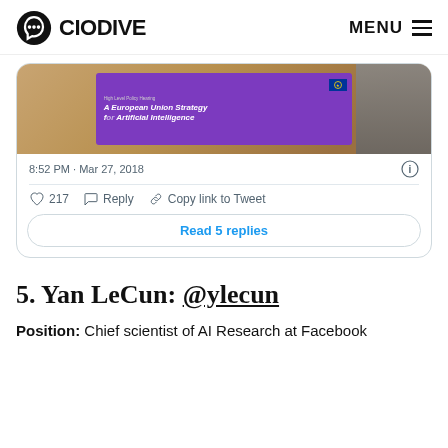CIO DIVE — MENU
[Figure (screenshot): Embedded tweet screenshot showing a purple screen displaying 'A European Union Strategy for Artificial Intelligence' presentation slide, with timestamp '8:52 PM · Mar 27, 2018', 217 likes, Reply, Copy link to Tweet actions, and a 'Read 5 replies' button.]
5. Yan LeCun: @ylecun
Position: Chief scientist of AI Research at Facebook